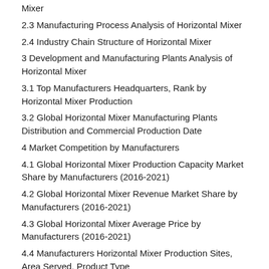Mixer
2.3 Manufacturing Process Analysis of Horizontal Mixer
2.4 Industry Chain Structure of Horizontal Mixer
3 Development and Manufacturing Plants Analysis of Horizontal Mixer
3.1 Top Manufacturers Headquarters, Rank by Horizontal Mixer Production
3.2 Global Horizontal Mixer Manufacturing Plants Distribution and Commercial Production Date
4 Market Competition by Manufacturers
4.1 Global Horizontal Mixer Production Capacity Market Share by Manufacturers (2016-2021)
4.2 Global Horizontal Mixer Revenue Market Share by Manufacturers (2016-2021)
4.3 Global Horizontal Mixer Average Price by Manufacturers (2016-2021)
4.4 Manufacturers Horizontal Mixer Production Sites, Area Served, Product Type
5 Horizontal Mixer Regional Market Analysis